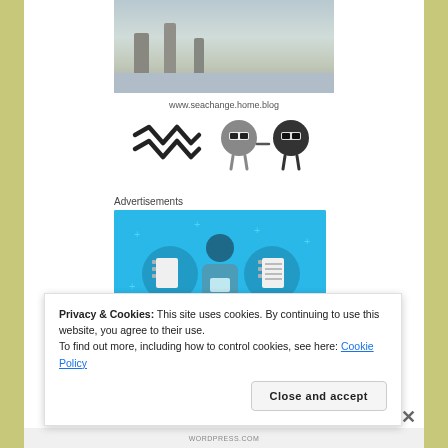[Figure (photo): Outdoor coastal scene with trees, pathway, and water in the background, muted colors]
www.seachange.home.blog
[Figure (illustration): Two cartoon round characters with glasses holding hands (right), and a wavy zigzag logo mark (left)]
Advertisements
[Figure (illustration): Blue advertisement banner showing a person using a phone with notebook icons on either side and small star/plus decorations]
Privacy & Cookies: This site uses cookies. By continuing to use this website, you agree to their use.
To find out more, including how to control cookies, see here: Cookie Policy
Close and accept